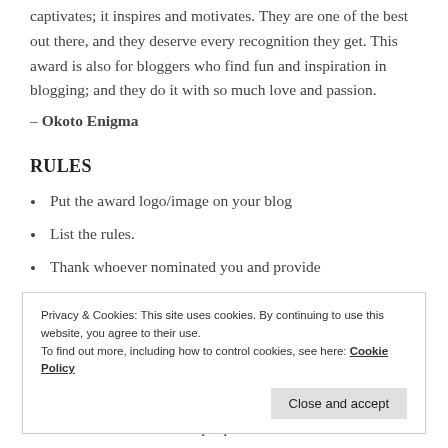captivates; it inspires and motivates. They are one of the best out there, and they deserve every recognition they get. This award is also for bloggers who find fun and inspiration in blogging; and they do it with so much love and passion.
– Okoto Enigma
RULES
Put the award logo/image on your blog
List the rules.
Thank whoever nominated you and provide
Privacy & Cookies: This site uses cookies. By continuing to use this website, you agree to their use.
To find out more, including how to control cookies, see here: Cookie Policy
Close and accept
You have to nominate 3 people